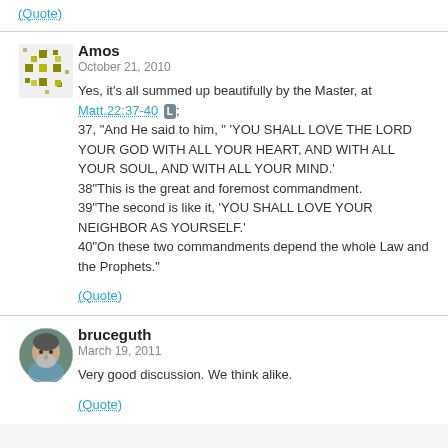(Quote)
Amos
October 21, 2010

Yes, it's all summed up beautifully by the Master, at Matt.22:37-40 [L];
37, "And He said to him, " 'YOU SHALL LOVE THE LORD YOUR GOD WITH ALL YOUR HEART, AND WITH ALL YOUR SOUL, AND WITH ALL YOUR MIND.'
38"This is the great and foremost commandment.
39"The second is like it, 'YOU SHALL LOVE YOUR NEIGHBOR AS YOURSELF.'
40"On these two commandments depend the whole Law and the Prophets."
(Quote)
bruceguth
March 19, 2011

Very good discussion. We think alike.
(Quote)